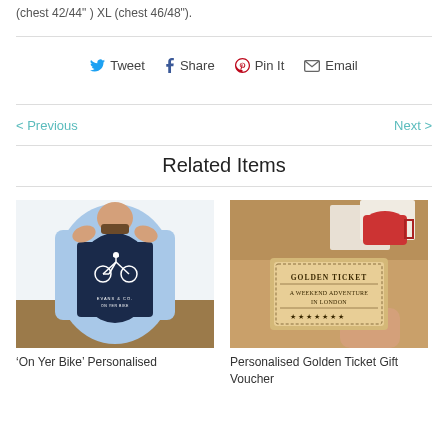(chest 42/44") XL (chest 46/48").
Tweet  Share  Pin It  Email
< Previous   Next >
Related Items
[Figure (photo): Man wearing a dark navy t-shirt with a bicycle graphic and text 'Evans & Co. On Yer Bike', over a light blue denim shirt]
'On Yer Bike' Personalised
[Figure (photo): Hand holding a golden ticket card that reads 'Golden Ticket - A Weekend Adventure in London' with stars, on a table with food and photos]
Personalised Golden Ticket Gift Voucher